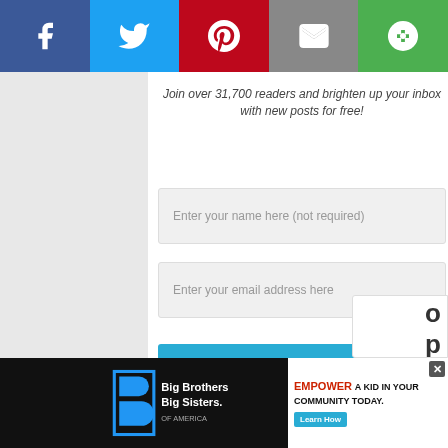[Figure (other): Social sharing bar with Facebook (blue), Twitter (blue), Pinterest (red), Email (grey), and More (green) buttons]
Join over 31,700 readers and brighten up your inbox with new posts for free!
Enter your name here (not required)
Enter your email address here
Subscribe
Your information will not be shared with or sold to a third party. This subscription is free of charge and can be canceled at any time.
[Figure (logo): Big Brothers Big Sisters of America logo]
[Figure (other): Ad banner: EMPOWER A KID IN YOUR COMMUNITY TODAY. with Learn How button]